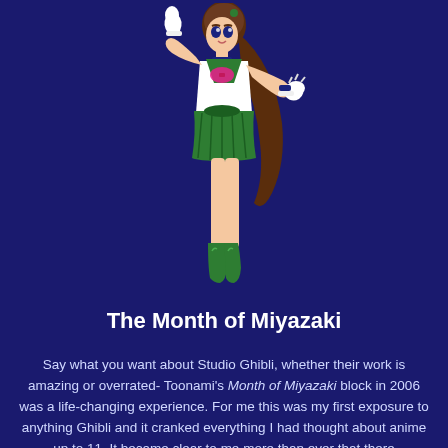[Figure (illustration): Anime-style illustration of a Sailor Moon character (Sailor Jupiter) in a dark green and white sailor uniform with pink bow, brown ponytail hair, white gloves, posing with one fist raised, on a dark navy blue background.]
The Month of Miyazaki
Say what you want about Studio Ghibli, whether their work is amazing or overrated- Toonami's Month of Miyazaki block in 2006 was a life-changing experience. For me this was my first exposure to anything Ghibli and it cranked everything I had thought about anime up to 11. It became clear to me more than ever that there